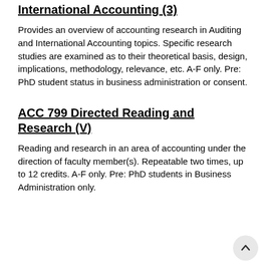International Accounting (3)
Provides an overview of accounting research in Auditing and International Accounting topics. Specific research studies are examined as to their theoretical basis, design, implications, methodology, relevance, etc. A-F only. Pre: PhD student status in business administration or consent.
ACC 799 Directed Reading and Research (V)
Reading and research in an area of accounting under the direction of faculty member(s). Repeatable two times, up to 12 credits. A-F only. Pre: PhD students in Business Administration only.